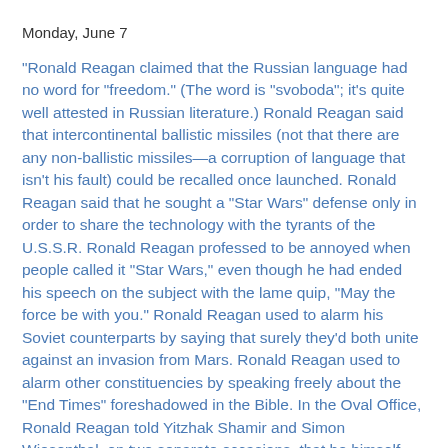Monday, June 7
"Ronald Reagan claimed that the Russian language had no word for "freedom." (The word is "svoboda"; it's quite well attested in Russian literature.) Ronald Reagan said that intercontinental ballistic missiles (not that there are any non-ballistic missiles—a corruption of language that isn't his fault) could be recalled once launched. Ronald Reagan said that he sought a "Star Wars" defense only in order to share the technology with the tyrants of the U.S.S.R. Ronald Reagan professed to be annoyed when people called it "Star Wars," even though he had ended his speech on the subject with the lame quip, "May the force be with you." Ronald Reagan used to alarm his Soviet counterparts by saying that surely they'd both unite against an invasion from Mars. Ronald Reagan used to alarm other constituencies by speaking freely about the "End Times" foreshadowed in the Bible. In the Oval Office, Ronald Reagan told Yitzhak Shamir and Simon Wiesenthal, on two separate occasions, that he himself had assisted personally at the liberation of the Nazi death camps." Ok, Hitchens, there are non-ballistic missiles